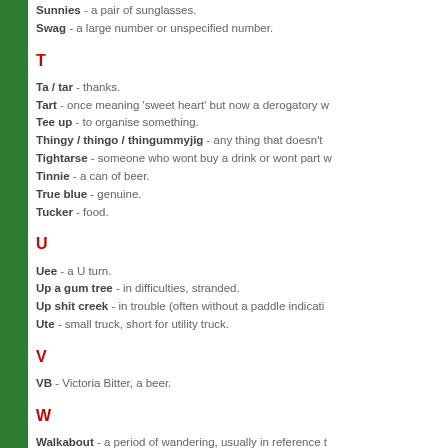Sunnies - a pair of sunglasses.
Swag - a large number or unspecified number.
T
Ta / tar - thanks.
Tart - once meaning 'sweet heart' but now a derogatory w...
Tee up - to organise something.
Thingy / thingo / thingummyjig - any thing that doesn't...
Tightarse - someone who wont buy a drink or wont part w...
Tinnie - a can of beer.
True blue - genuine.
Tucker - food.
U
Uee - a U turn.
Up a gum tree - in difficulties, stranded.
Up shit creek - in trouble (often without a paddle indicati...
Ute - small truck, short for utility truck.
V
VB - Victoria Bitter, a beer.
W
Walkabout - a period of wandering, usually in reference t...
Walloper - one who thrashes someone.
Wally - someone who keeps making mistakes.
Wanker - one who masturbates; a person who is full of th...